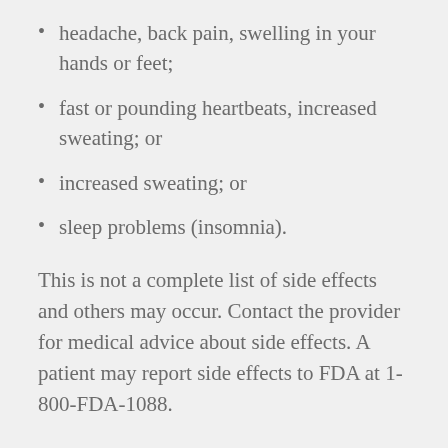headache, back pain, swelling in your hands or feet;
fast or pounding heartbeats, increased sweating; or
increased sweating; or
sleep problems (insomnia).
This is not a complete list of side effects and others may occur. Contact the provider for medical advice about side effects. A patient may report side effects to FDA at 1-800-FDA-1088.